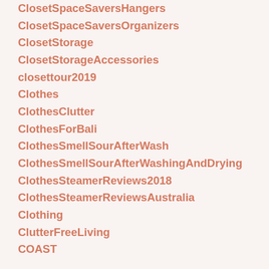ClosetSpaceSaversHangers
ClosetSpaceSaversOrganizers
ClosetStorage
ClosetStorageAccessories
closettour2019
Clothes
ClothesClutter
ClothesForBali
ClothesSmellSourAfterWash
ClothesSmellSourAfterWashingAndDrying
ClothesSteamerReviews2018
ClothesSteamerReviewsAustralia
Clothing
ClutterFreeLiving
COAST